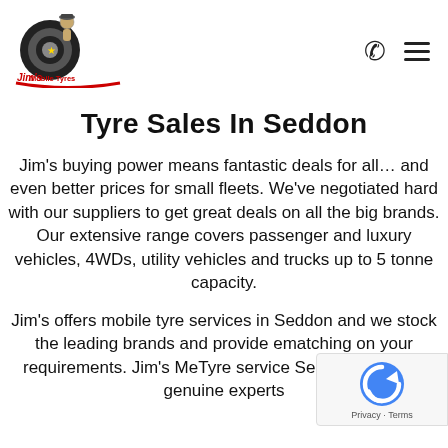[Figure (logo): Jim's Mobile Tyres logo with a cartoon figure and tire graphic, red and black text]
Tyre Sales In Seddon
Jim's buying power means fantastic deals for all… and even better prices for small fleets. We've negotiated hard with our suppliers to get great deals on all the big brands. Our extensive range covers passenger and luxury vehicles, 4WDs, utility vehicles and trucks up to 5 tonne capacity.
Jim's offers mobile tyre services in Seddon and we stock the leading brands and provide matching on your requirements. Jim's Mobile Tyre service Seddon team are genuine experts